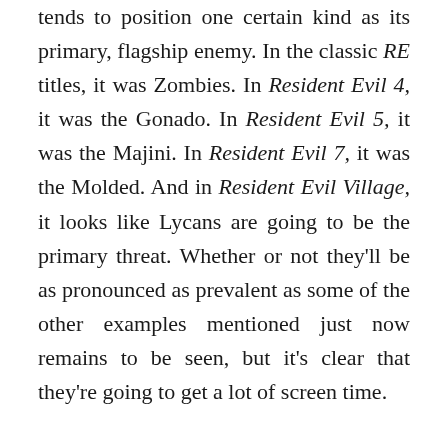tends to position one certain kind as its primary, flagship enemy. In the classic RE titles, it was Zombies. In Resident Evil 4, it was the Gonado. In Resident Evil 5, it was the Majini. In Resident Evil 7, it was the Molded. And in Resident Evil Village, it looks like Lycans are going to be the primary threat. Whether or not they'll be as pronounced as prevalent as some of the other examples mentioned just now remains to be seen, but it's clear that they're going to get a lot of screen time.

And based on all that we've seen so far, they're clearly going to be very formidable foes. Where